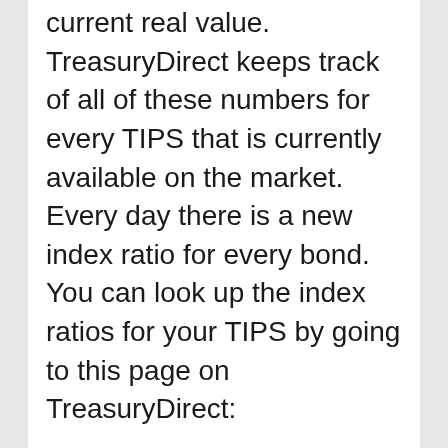current real value. TreasuryDirect keeps track of all of these numbers for every TIPS that is currently available on the market. Every day there is a new index ratio for every bond. You can look up the index ratios for your TIPS by going to this page on TreasuryDirect:
TIPS/CPI Data Page
When you open this page, you will see all of the CUSIP's listed for every TIPS that hasn't matured yet. Then, you click on your CUSIP number. When I click on the number 9128283R9, I get a list dates along with some other numbers in a